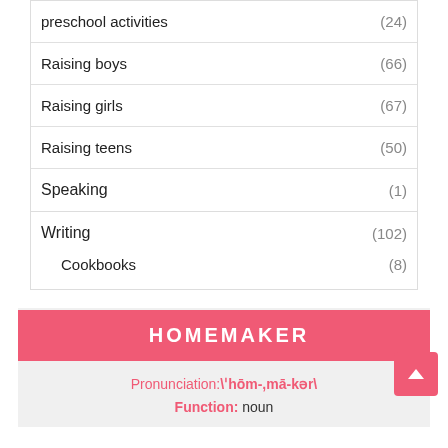preschool activities (24)
Raising boys (66)
Raising girls (67)
Raising teens (50)
Speaking (1)
Writing (102)
Cookbooks (8)
HOMEMAKER
Pronunciation:\'hōm-,mā-kər\
Function: noun